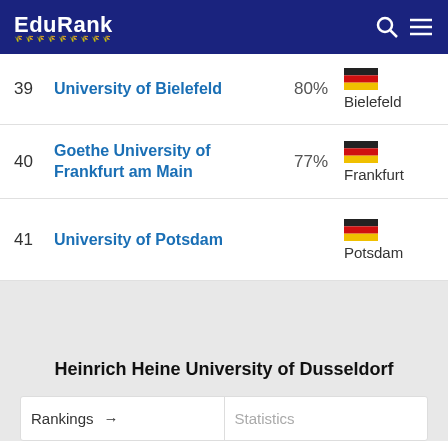EduRank
39 University of Bielefeld 80% Bielefeld
40 Goethe University of Frankfurt am Main 77% Frankfurt
41 University of Potsdam Potsdam
Heinrich Heine University of Dusseldorf
| Rankings | Statistics |
| --- | --- |